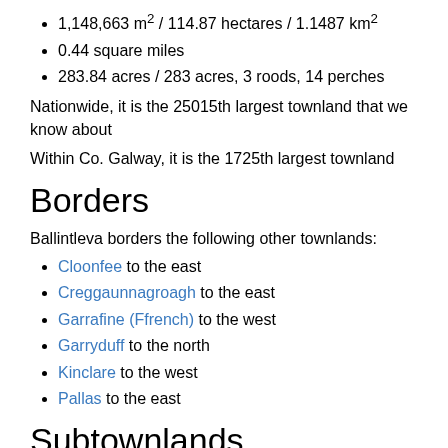1,148,663 m² / 114.87 hectares / 1.1487 km²
0.44 square miles
283.84 acres / 283 acres, 3 roods, 14 perches
Nationwide, it is the 25015th largest townland that we know about
Within Co. Galway, it is the 1725th largest townland
Borders
Ballintleva borders the following other townlands:
Cloonfee to the east
Creggaunnagroagh to the east
Garrafine (Ffrench) to the west
Garryduff to the north
Kinclare to the west
Pallas to the east
Subtownlands
We don't know about any subtownlands in Ballintleva.
Genealogy / Ancestry /